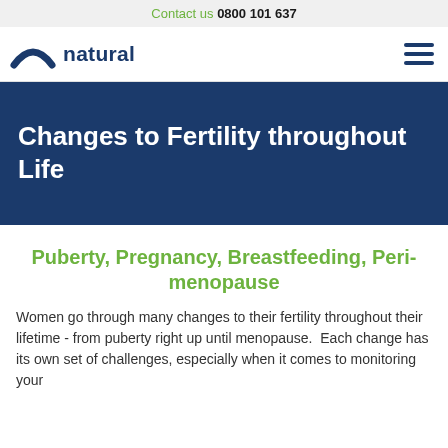Contact us 0800 101 637
[Figure (logo): Natural fertility company logo with arch/rainbow icon and text 'natural']
Changes to Fertility throughout Life
Puberty, Pregnancy, Breastfeeding, Peri-menopause
Women go through many changes to their fertility throughout their lifetime - from puberty right up until menopause.  Each change has its own set of challenges, especially when it comes to monitoring your